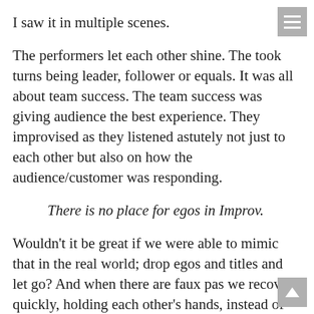I saw it in multiple scenes.
The performers let each other shine. The took turns being leader, follower or equals. It was all about team success. The team success was giving audience the best experience. They improvised as they listened astutely not just to each other but also on how the audience/customer was responding.
There is no place for egos in Improv.
Wouldn't it be great if we were able to mimic that in the real world; drop egos and titles and let go? And when there are faux pas we recover quickly, holding each other's hands, instead of blaming each other.
I am also certain that this activity engaged a different part of brain and let me turn off the rational brain. I experienced, especially on the